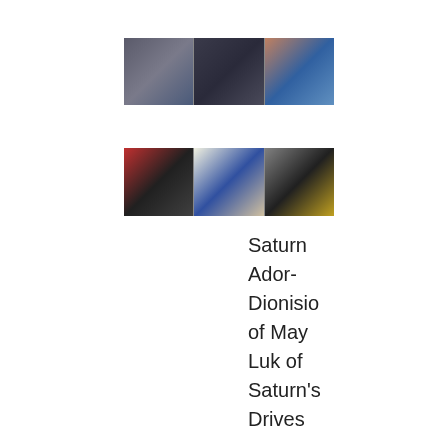[Figure (photo): Three panel photo strip showing groups of people at an event inside a car showroom or dealership. Left panel: three young people posing, center panel: couple in formal wear, right panel: two men in conversation.]
[Figure (photo): Three panel photo strip showing groups of people at an event. Left panel: blonde woman in black dress with red sports car behind. Center panel: three people posing together. Right panel: couple posing together.]
Saturn Ador- Dionisio of May Luk of Saturn's Drives